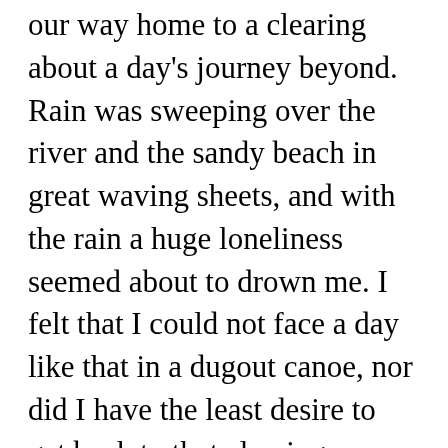our way home to a clearing about a day's journey beyond. Rain was sweeping over the river and the sandy beach in great waving sheets, and with the rain a huge loneliness seemed about to drown me. I felt that I could not face a day like that in a dugout canoe, nor did I have the least desire to get back to that clearing. Civilization was what I wanted that moment, not adventure, but I had no choice. God met me there that morning, and strengthened me with an It is written, reminding me of His promises, I will never leave you nor forsake you. I am with you